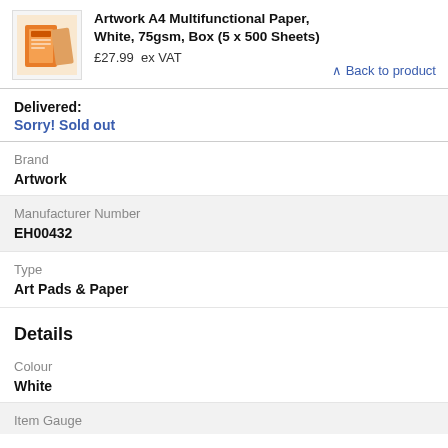Artwork A4 Multifunctional Paper, White, 75gsm, Box (5 x 500 Sheets)
£27.99  ex VAT
Back to product
Delivered:
Sorry! Sold out
Brand
Artwork
Manufacturer Number
EH00432
Type
Art Pads & Paper
Details
Colour
White
Item Gauge